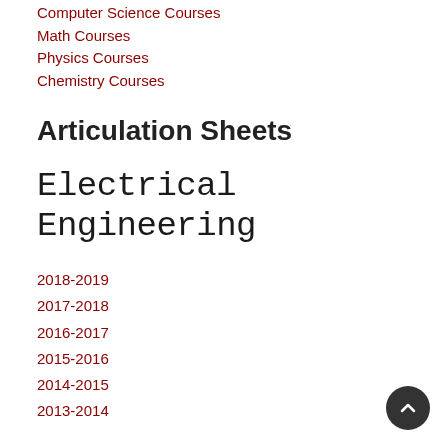Computer Science Courses
Math Courses
Physics Courses
Chemistry Courses
Articulation Sheets
Electrical Engineering
2018-2019
2017-2018
2016-2017
2015-2016
2014-2015
2013-2014